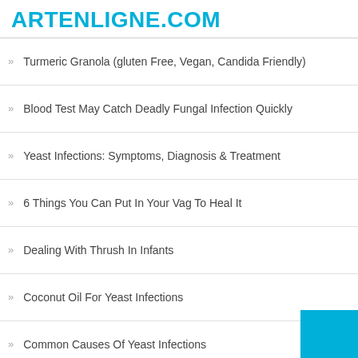ARTENLIGNE.COM
Turmeric Granola (gluten Free, Vegan, Candida Friendly)
Blood Test May Catch Deadly Fungal Infection Quickly
Yeast Infections: Symptoms, Diagnosis & Treatment
6 Things You Can Put In Your Vag To Heal It
Dealing With Thrush In Infants
Coconut Oil For Yeast Infections
Common Causes Of Yeast Infections
Yeast Infection: Vaginal Yeast Infection Symptoms, Diagnosis, And Treatment